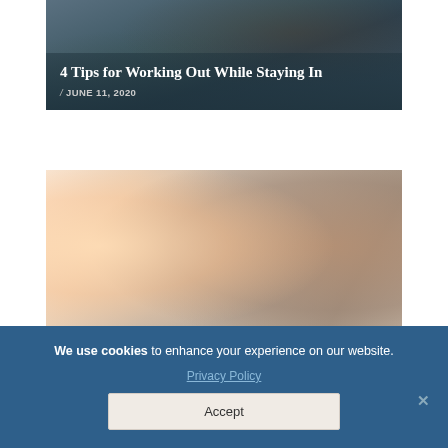[Figure (photo): Blog card with dark teal/blue background showing a workout/exercise related image with title overlay: '4 Tips for Working Out While Staying In', dated June 11, 2020]
4 Tips for Working Out While Staying In
/ JUNE 11, 2020
[Figure (photo): Blog card showing hands typing on a laptop/keyboard with a bright light flare in the background, warm tones]
We use cookies to enhance your experience on our website. Privacy Policy Accept